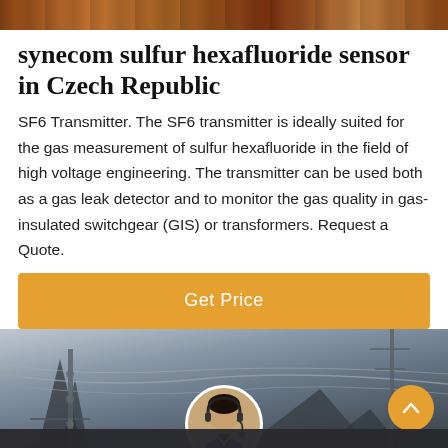[Figure (photo): Top banner image showing industrial/construction scene with warm orange-brown tones]
synecom sulfur hexafluoride sensor in Czech Republic
SF6 Transmitter. The SF6 transmitter is ideally suited for the gas measurement of sulfur hexafluoride in the field of high voltage engineering. The transmitter can be used both as a gas leak detector and to monitor the gas quality in gas-insulated switchgear (GIS) or transformers. Request a Quote.
[Figure (other): Orange 'Get Price' call-to-action button]
[Figure (photo): Bottom image showing electrical tower/infrastructure with power lines, dark background. Includes customer service avatar, up-arrow button, and chat footer bar with Leave Message and Chat Online options.]